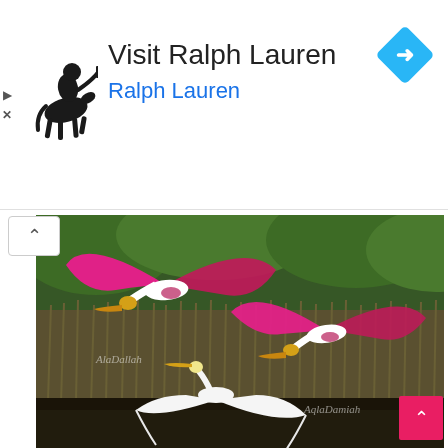[Figure (logo): Ralph Lauren polo player logo (black silhouette of polo player on horse)]
Visit Ralph Lauren
Ralph Lauren
[Figure (illustration): Blue diamond-shaped navigation/maps icon with white right-turn arrow]
[Figure (photo): Wildlife photograph showing two roseate spoonbills with vivid pink wings in flight over a wetland marsh with tall reeds, plus a white egret/heron in the lower portion also in flight. Watermark text 'AlaDallah' visible twice.]